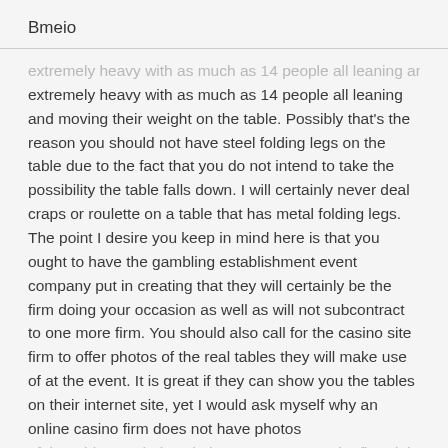Bmeio
extremely heavy with as much as 14 people all leaning and moving their weight on the table. Possibly that's the reason you should not have steel folding legs on the table due to the fact that you do not intend to take the possibility the table falls down. I will certainly never deal craps or roulette on a table that has metal folding legs. The point I desire you keep in mind here is that you ought to have the gambling establishment event company put in creating that they will certainly be the firm doing your occasion as well as will not subcontract to one more firm. You should also call for the casino site firm to offer photos of the real tables they will make use of at the event. It is great if they can show you the tables on their internet site, yet I would ask myself why an online casino firm does not have photos of the tables on their website. Do not accept the firm doing